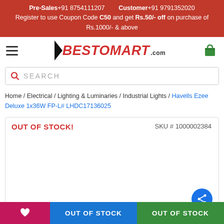Pre-Sales +91 8754111207   Customer +91 9791352020
Register to use Coupon Code C50 and get Rs.50/- off on purchase of Rs.1000/- & above
[Figure (logo): Bestomart.com logo with black triangle and red bold italic text]
SEARCH
Home / Electrical / Lighting & Luminaries / Industrial Lights / Havells Ezee Deluxe 1x36W FP-L# LHDC17136025
OUT OF STOCK!
SKU # 1000002384
OUT OF STOCK   OUT OF STOCK